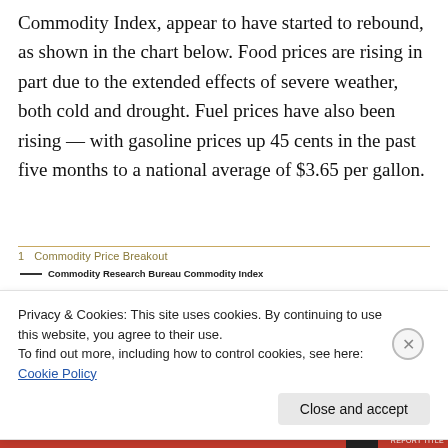Commodity Index, appear to have started to rebound, as shown in the chart below. Food prices are rising in part due to the extended effects of severe weather, both cold and drought. Fuel prices have also been rising — with gasoline prices up 45 cents in the past five months to a national average of $3.65 per gallon.
1  Commodity Price Breakout
[Figure (line-chart): Line chart showing Commodity Research Bureau Commodity Index, partially obscured by cookie consent overlay. Y-axis shows value 500 visible.]
Privacy & Cookies: This site uses cookies. By continuing to use this website, you agree to their use.
To find out more, including how to control cookies, see here: Cookie Policy
Close and accept